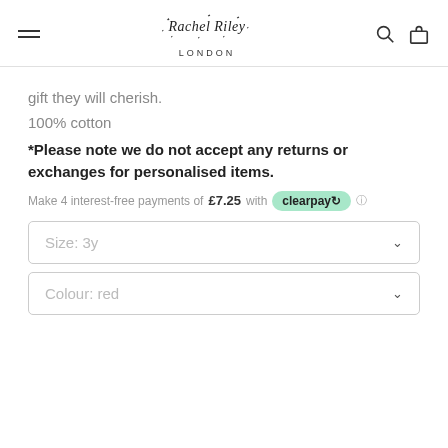Rachel Riley London
gift they will cherish.
100% cotton
*Please note we do not accept any returns or exchanges for personalised items.
Make 4 interest-free payments of £7.25 with clearpay
Size: 3y
Colour: red